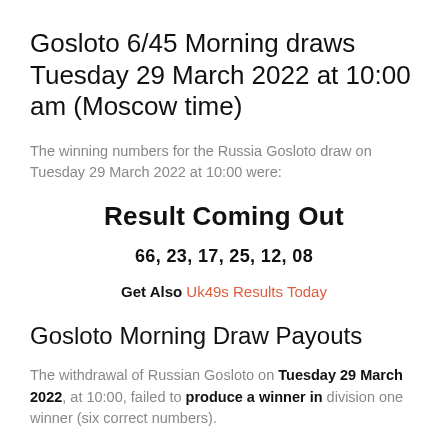Gosloto 6/45 Morning draws Tuesday 29 March 2022 at 10:00 am (Moscow time)
The winning numbers for the Russia Gosloto draw on Tuesday 29 March 2022 at 10:00 were:
Result Coming Out
66, 23, 17, 25, 12, 08
Get Also Uk49s Results Today
Gosloto Morning Draw Payouts
The withdrawal of Russian Gosloto on Tuesday 29 March 2022, at 10:00, failed to produce a winner in division one winner (six correct numbers).